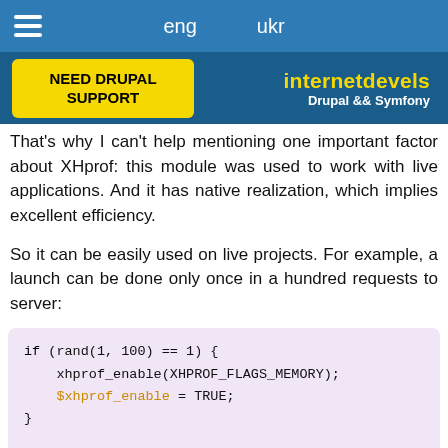eng   ukr
[Figure (logo): internetdevels Drupal && Symfony logo with NEED DRUPAL SUPPORT button]
That's why I can't help mentioning one important factor about XHprof: this module was used to work with live applications. And it has native realization, which implies excellent efficiency.
So it can be easily used on live projects. For example, a launch can be done only once in a hundred requests to server:
if (rand(1, 100) == 1) {
    xhprof_enable(XHPROF_FLAGS_MEMORY);
    $xhprof_enable = TRUE;
}

// application execution

if ($xhprof_enable) {
    $xhprof_data = xhprof_disable();
    // saving data
}